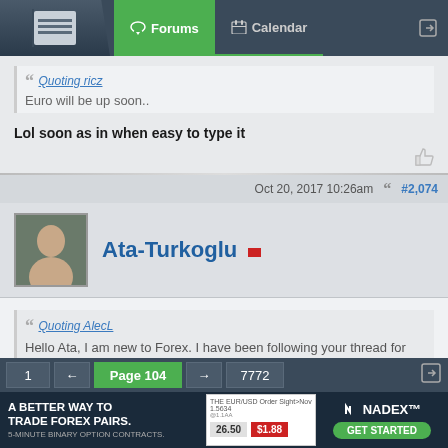Forums | Calendar
Quoting ricz
Euro will be up soon..
Lol soon as in when easy to type it
Oct 20, 2017 10:26am  #2,074
Ata-Turkoglu
Quoting AlecL
Hello Ata, I am new to Forex. I have been following your thread for two days. I feel confused with all the attached images and explanation. Could you give me some advice on where to begin? any website and books? thanks! - Alec
I will try to prepare a youtube watchlist that consists of a collection of useful
1 ← Page 104 → 7772
[Figure (screenshot): Advertisement banner for Nadex binary options trading - A Better Way to Trade Forex Pairs. 5-Minute Binary Option Contracts.]